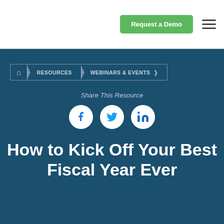[Figure (screenshot): Website header with green 'Request a Demo' button and hamburger menu icon on white background]
[Figure (infographic): Breadcrumb navigation showing home icon, RESOURCES, and WEBINARS & EVENTS on dark teal background]
Share This Resource
[Figure (infographic): Social sharing icons: Facebook, Twitter, LinkedIn in white circles on dark teal background]
How to Kick Off Your Best Fiscal Year Ever